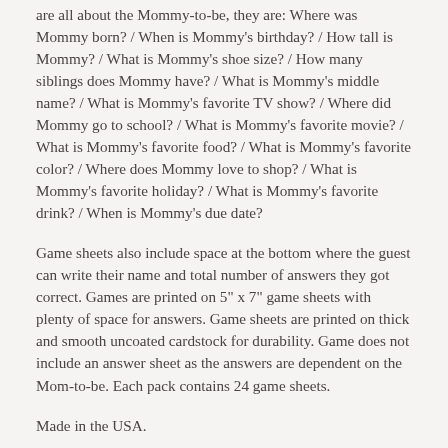are all about the Mommy-to-be, they are: Where was Mommy born? / When is Mommy's birthday? / How tall is Mommy? / What is Mommy's shoe size? / How many siblings does Mommy have? / What is Mommy's middle name? / What is Mommy's favorite TV show? / Where did Mommy go to school? / What is Mommy's favorite movie? / What is Mommy's favorite food? / What is Mommy's favorite color? / Where does Mommy love to shop? / What is Mommy's favorite holiday? / What is Mommy's favorite drink? / When is Mommy's due date?
Game sheets also include space at the bottom where the guest can write their name and total number of answers they got correct. Games are printed on 5" x 7" game sheets with plenty of space for answers. Game sheets are printed on thick and smooth uncoated cardstock for durability. Game does not include an answer sheet as the answers are dependent on the Mom-to-be. Each pack contains 24 game sheets.
Made in the USA.